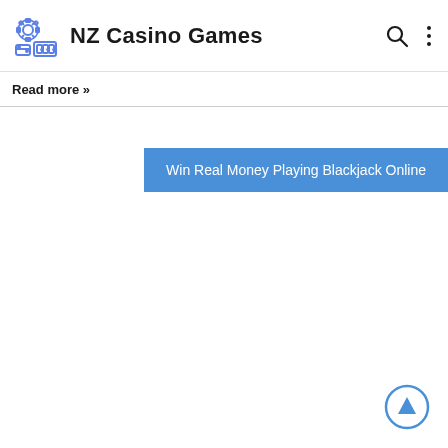NZ Casino Games
Read more »
Win Real Money Playing Blackjack Online